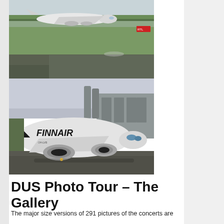[Figure (photo): Airplane on airport runway, aerial view showing plane landing or taxiing, green fields and airport infrastructure visible, cloudy sky in background]
[Figure (photo): Finnair Airbus aircraft on airport tarmac, close-up front view showing Finnair livery, airport terminal building visible in background, dusk lighting]
DUS Photo Tour – The Gallery
The major size versions of 291 pictures of the concerts are